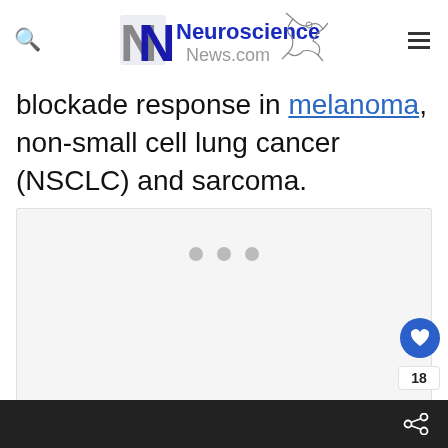Neuroscience News.com
blockade response in melanoma, non-small cell lung cancer (NSCLC) and sarcoma.
[Figure (other): Advertisement placeholder box with three dots indicating loading content]
18